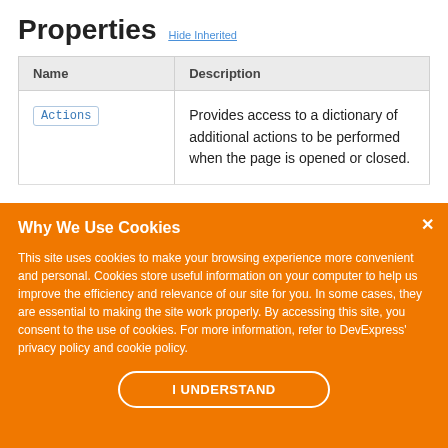Properties Hide Inherited
| Name | Description |
| --- | --- |
| Actions | Provides access to a dictionary of additional actions to be performed when the page is opened or closed. |
Why We Use Cookies
This site uses cookies to make your browsing experience more convenient and personal. Cookies store useful information on your computer to help us improve the efficiency and relevance of our site for you. In some cases, they are essential to making the site work properly. By accessing this site, you consent to the use of cookies. For more information, refer to DevExpress' privacy policy and cookie policy.
I UNDERSTAND